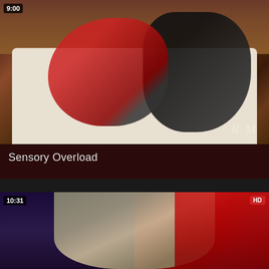[Figure (screenshot): Video thumbnail showing two people on a white couch in a kitchen setting. Duration badge '9:00' in top left corner.]
Sensory Overload
[Figure (screenshot): Video thumbnail showing a blonde woman close-up with colorful background. Duration badge '10:31' in top left corner and 'HD' badge in top right corner.]